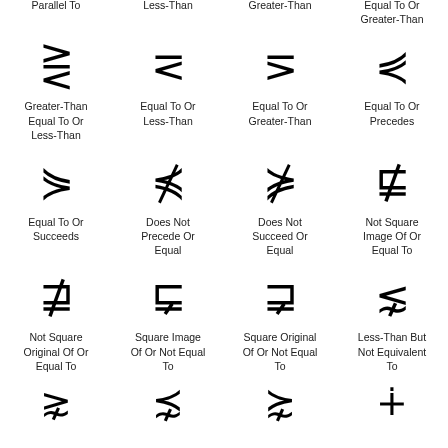Parallel To
Less-Than
Greater-Than
Equal To Or Greater-Than
[Figure (illustration): Greater-Than Equal To Or Less-Than symbol (⋛)]
Greater-Than Equal To Or Less-Than
[Figure (illustration): Equal To Or Less-Than symbol (⋜)]
Equal To Or Less-Than
[Figure (illustration): Equal To Or Greater-Than symbol (⋝)]
Equal To Or Greater-Than
[Figure (illustration): Equal To Or Precedes symbol (⋞)]
Equal To Or Precedes
[Figure (illustration): Equal To Or Succeeds symbol (⋟)]
Equal To Or Succeeds
[Figure (illustration): Does Not Precede Or Equal symbol (⋠)]
Does Not Precede Or Equal
[Figure (illustration): Does Not Succeed Or Equal symbol (⋡)]
Does Not Succeed Or Equal
[Figure (illustration): Not Square Image Of Or Equal To symbol (⋢)]
Not Square Image Of Or Equal To
[Figure (illustration): Not Square Original Of Or Equal To symbol (⋣)]
Not Square Original Of Or Equal To
[Figure (illustration): Square Image Of Or Not Equal To symbol (⋤)]
Square Image Of Or Not Equal To
[Figure (illustration): Square Original Of Or Not Equal To symbol (⋥)]
Square Original Of Or Not Equal To
[Figure (illustration): Less-Than But Not Equivalent To symbol (⋦)]
Less-Than But Not Equivalent To